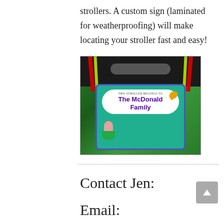strollers. A custom sign (laminated for weatherproofing) will make locating your stroller fast and easy!
[Figure (photo): A stroller with a custom laminated sign reading 'The McDonald Family' featuring Little Mermaid Ariel character, attached to a stroller handle with red and green/yellow ribbons, photographed outdoors.]
Contact Jen:
Email: